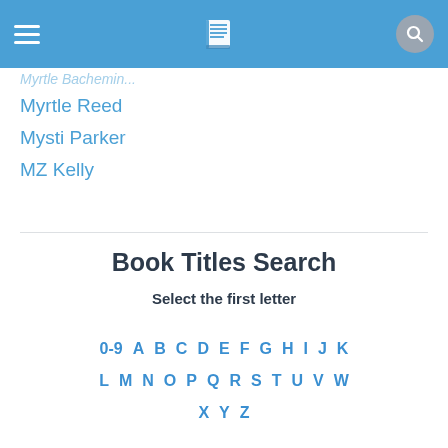≡  [book icon]  [search icon]
Myrtle Reed
Mysti Parker
MZ Kelly
Book Titles Search
Select the first letter
0-9  A  B  C  D  E  F  G  H  I  J  K  L  M  N  O  P  Q  R  S  T  U  V  W  X  Y  Z